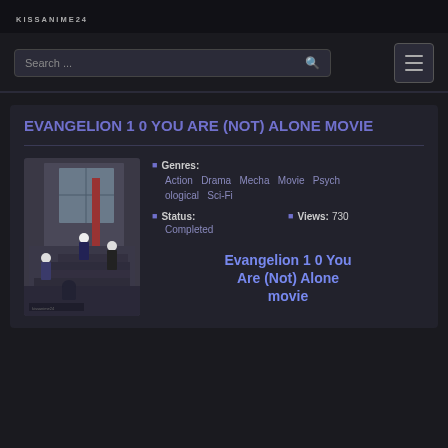KISSANIME24
EVANGELION 1 0 YOU ARE (NOT) ALONE MOVIE
[Figure (illustration): Anime movie poster showing characters on stairs in an urban setting]
Genres: Action Drama Mecha Movie Psychological Sci-Fi
Status: Completed
Views: 730
Evangelion 1 0 You Are (Not) Alone movie